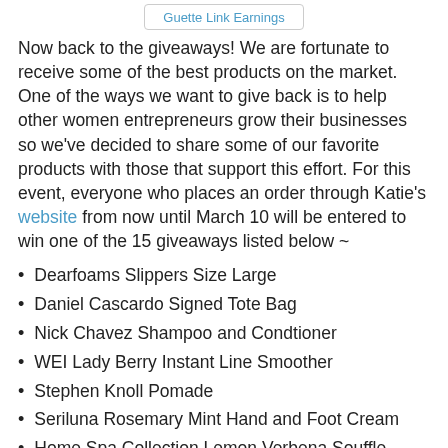Guette Link Earnings
Now back to the giveaways! We are fortunate to receive some of the best products on the market. One of the ways we want to give back is to help other women entrepreneurs grow their businesses so we've decided to share some of our favorite products with those that support this effort. For this event, everyone who places an order through Katie's website from now until March 10 will be entered to win one of the 15 giveaways listed below ~
Dearfoams Slippers Size Large
Daniel Cascardo Signed Tote Bag
Nick Chavez Shampoo and Condtioner
WEI Lady Berry Instant Line Smoother
Stephen Knoll Pomade
Seriluna Rosemary Mint Hand and Foot Cream
Home Spa Collection Lemon Verbena Souffle Scrub
Avon Special Miracle Transformation Kit Pet